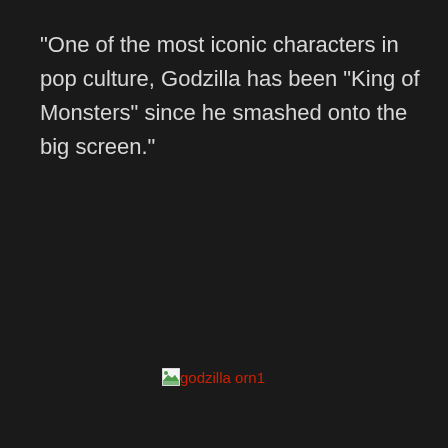“One of the most iconic characters in pop culture, Godzilla has been “King of Monsters” since he smashed onto the big screen.”
[Figure (other): Broken image placeholder icon with alt text 'godzilla orn1' shown in red text next to a small browser broken-image icon]